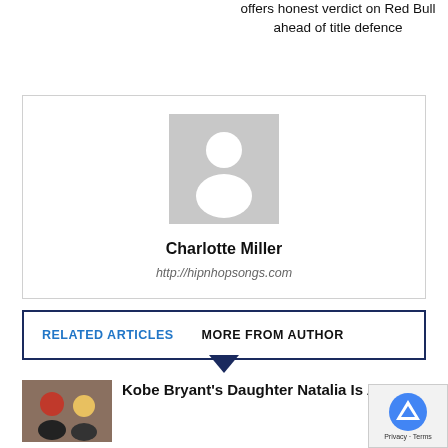offers honest verdict on Red Bull ahead of title defence
[Figure (photo): Author avatar placeholder — grey silhouette of a person on light grey background]
Charlotte Miller
http://hipnhopsongs.com
RELATED ARTICLES    MORE FROM AUTHOR
Kobe Bryant's Daughter Natalia Is All